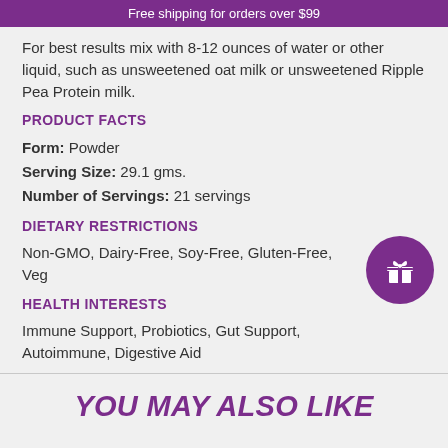Free shipping for orders over $99
For best results mix with 8-12 ounces of water or other liquid, such as unsweetened oat milk or unsweetened Ripple Pea Protein milk.
PRODUCT FACTS
Form: Powder
Serving Size: 29.1 gms.
Number of Servings: 21 servings
DIETARY RESTRICTIONS
Non-GMO, Dairy-Free, Soy-Free, Gluten-Free, Veg
HEALTH INTERESTS
Immune Support, Probiotics, Gut Support, Autoimmune, Digestive Aid
YOU MAY ALSO LIKE